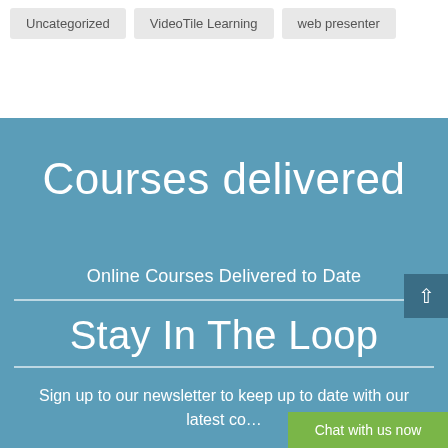Uncategorized
VideoTile Learning
web presenter
Courses delivered
Online Courses Delivered to Date
Stay In The Loop
Sign up to our newsletter to keep up to date with our latest co…